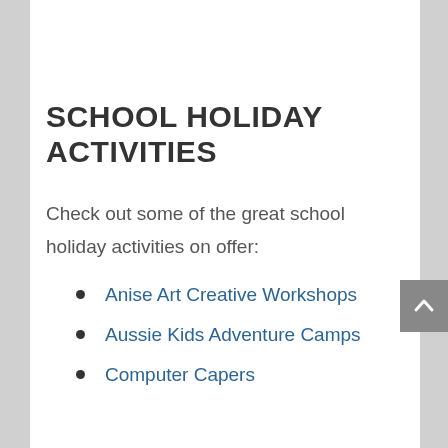SCHOOL HOLIDAY ACTIVITIES
Check out some of the great school holiday activities on offer:
Anise Art Creative Workshops
Aussie Kids Adventure Camps
Computer Capers